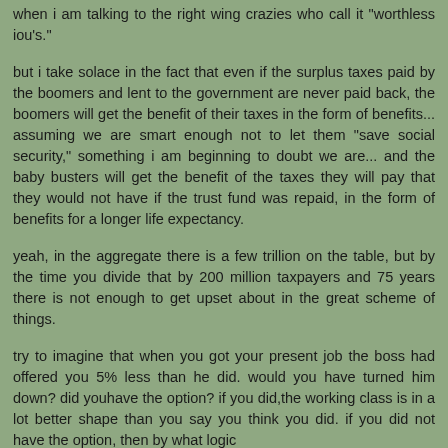when i am talking to the right wing crazies who call it "worthless iou's."
but i take solace in the fact that even if the surplus taxes paid by the boomers and lent to the government are never paid back, the boomers will get the benefit of their taxes in the form of benefits... assuming we are smart enough not to let them "save social security," something i am beginning to doubt we are... and the baby busters will get the benefit of the taxes they will pay that they would not have if the trust fund was repaid, in the form of benefits for a longer life expectancy.
yeah, in the aggregate there is a few trillion on the table, but by the time you divide that by 200 million taxpayers and 75 years there is not enough to get upset about in the great scheme of things.
try to imagine that when you got your present job the boss had offered you 5% less than he did. would you have turned him down? did youhave the option? if you did,the working class is in a lot better shape than you say you think you did. if you did not have the option, then by what logic